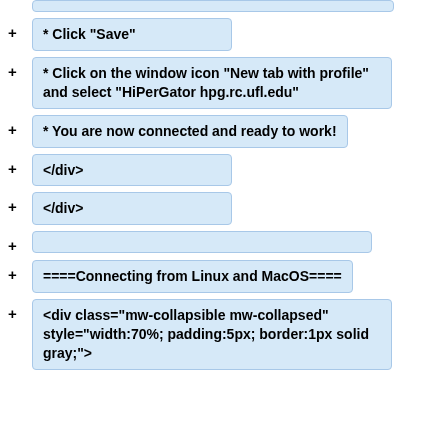* Click "Save"
* Click on the window icon "New tab with profile" and select "HiPerGator hpg.rc.ufl.edu"
* You are now connected and ready to work!
</div>
</div>
====Connecting from Linux and MacOS====
<div class="mw-collapsible mw-collapsed" style="width:70%; padding:5px; border:1px solid gray;">